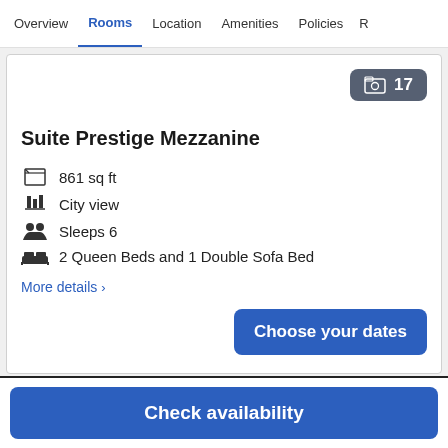Overview  Rooms  Location  Amenities  Policies  R
Suite Prestige Mezzanine
861 sq ft
City view
Sleeps 6
2 Queen Beds and 1 Double Sofa Bed
More details >
Choose your dates
Check availability